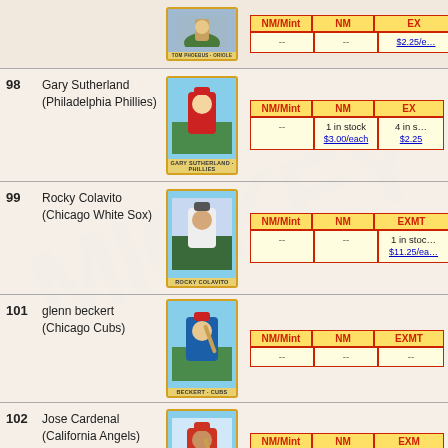| # | Player | Card | NM/Mint | NM | EXMT |
| --- | --- | --- | --- | --- | --- |
| 98 | Gary Sutherland (Philadelphia Phillies) | [card image] | -- | 1 in stock $3.00/each | 4 in stock $2.25/each |
| 99 | Rocky Colavito (Chicago White Sox) | [card image] | -- | -- | 1 in stock $11.25/each |
| 101 | glenn beckert (Chicago Cubs) | [card image] | -- | -- | -- |
| 102 | Jose Cardenal (California Angels) | [card image] | -- | -- | 3 in stock $4.50/each |